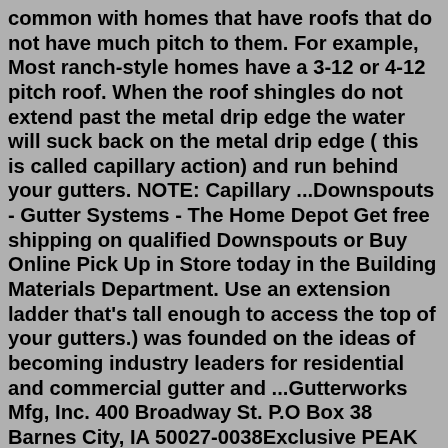common with homes that have roofs that do not have much pitch to them. For example, Most ranch-style homes have a 3-12 or 4-12 pitch roof. When the roof shingles do not extend past the metal drip edge the water will suck back on the metal drip edge ( this is called capillary action) and run behind your gutters. NOTE: Capillary ...Downspouts - Gutter Systems - The Home Depot Get free shipping on qualified Downspouts or Buy Online Pick Up in Store today in the Building Materials Department. Use an extension ladder that's tall enough to access the top of your gutters.) was founded on the ideas of becoming industry leaders for residential and commercial gutter and ...Gutterworks Mfg, Inc. 400 Broadway St. P.O Box 38 Barnes City, IA 50027-0038Exclusive PEAK Aquatine 3 ft. x 4 ft. Black Aluminum Fence Pool Gate Model# 56163 ( 55) $27060 Pickup Free ship to store Delivery Free Add to Cart Compare Exclusive PEAK AquatinePLUS 3 ft. x 4 ft. Black Aluminum Yard Fence Gate Model# 57168 ( 37) $16565 Pickup Free ship to store Delivery Free Add to Cart C...